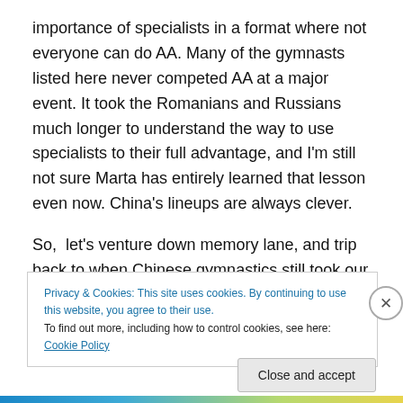importance of specialists in a format where not everyone can do AA. Many of the gymnasts listed here never competed AA at a major event. It took the Romanians and Russians much longer to understand the way to use specialists to their full advantage, and I'm still not sure Marta has entirely learned that lesson even now. China's lineups are always clever.
So,  let's venture down memory lane, and trip back to when Chinese gymnastics still took our breath away, they always had the biggest tricks and we could all still delude
Privacy & Cookies: This site uses cookies. By continuing to use this website, you agree to their use.
To find out more, including how to control cookies, see here: Cookie Policy
Close and accept